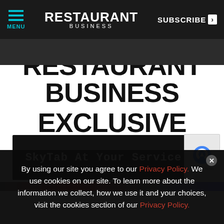MENU | RESTAURANT BUSINESS | SUBSCRIBE >
RESTAURANT BUSINESS EXCLUSIVE CONTENT
[Figure (screenshot): Advertisement banner: dark background with text 'SkyTab At Your Service.' and a close (X) button. Alongside it a reCAPTCHA widget showing the reCAPTCHA logo and 'Privacy - Terms' text.]
[Figure (photo): Partial image strip visible at bottom of content area before cookie overlay.]
By using our site you agree to our Privacy Policy. We use cookies on our site. To learn more about the information we collect, how we use it and your choices, visit the cookies section of our Privacy Policy.